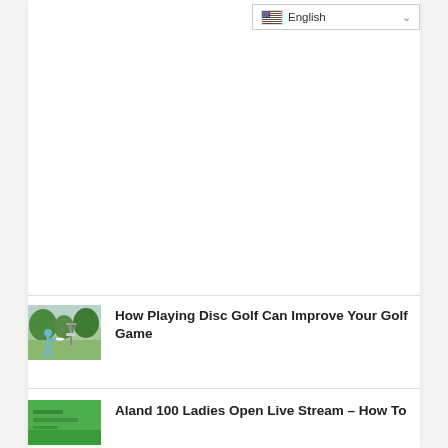English
[Figure (photo): Thumbnail image of a person throwing a disc golf disc toward a disc golf basket/chain target, outdoors with trees in background]
How Playing Disc Golf Can Improve Your Golf Game
[Figure (photo): Thumbnail image with green background, partially visible text, related to Aland 100 Ladies Open]
Aland 100 Ladies Open Live Stream – How To